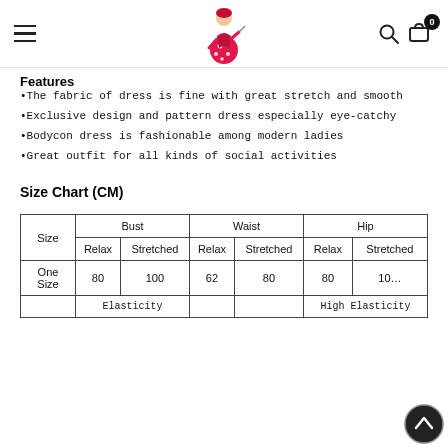Sexy Affordable — navigation bar with hamburger menu, logo, search icon, cart (0)
Features
•The fabric of dress is fine with great stretch and smooth
•Exclusive design and pattern dress especially eye-catchy
•Bodycon dress is fashionable among modern ladies
•Great outfit for all kinds of social activities
Size Chart (CM)
| Size | Bust Relax | Bust Stretched | Waist Relax | Waist Stretched | Hip Relax | Hip Stretched |
| --- | --- | --- | --- | --- | --- | --- |
| One Size | 80 | 100 | 62 | 80 | 80 | 10... |
|  | Elasticity |  |  |  | High Elasticity |  |